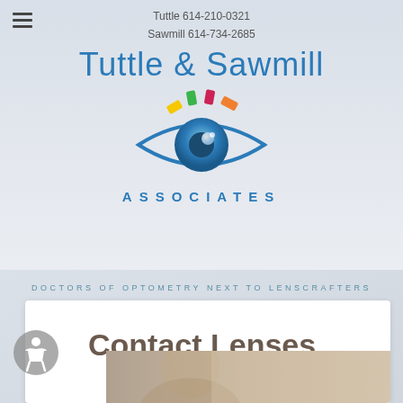Tuttle 614-210-0321
Sawmill 614-734-2685
Tuttle & Sawmill ASSOCIATES
[Figure (logo): Eye logo with colorful rectangles above representing color vision, below the Tuttle & Sawmill Associates text]
DOCTORS OF OPTOMETRY NEXT TO LENSCRAFTERS
Contact Lenses
[Figure (photo): Partial photo of a person at the bottom of the page]